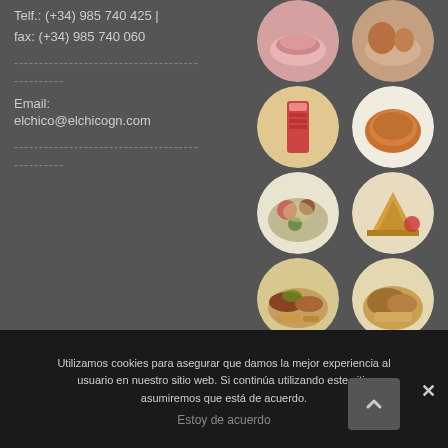Telf.: (+34) 985 740 425 | fax: (+34) 985 740 060
Email: elchico@elchicogn.com
[Figure (photo): Grid of circular food product photos showing various meat and charcuterie products]
Utilizamos cookies para asegurar que damos la mejor experiencia al usuario en nuestro sitio web. Si continúa utilizando este sitio asumiremos que está de acuerdo.
Estoy de acuerdo